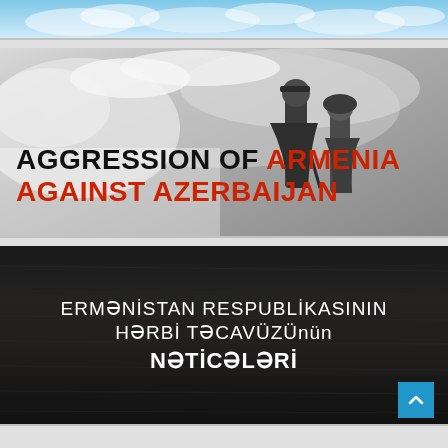[Figure (photo): Blue sky / cloud gradient strip at top of page]
[Figure (photo): Black and white photo banner showing elderly refugees walking, with bold text overlay reading 'AGGRESSION OF ARMENIA AGAINST AZERBAIJAN' in black and red]
[Figure (illustration): Dark wood-texture background banner with white Azerbaijani text: 'ERMƏNİSTAN RESPUBLİKASININ HƏRBİ TƏCAVÜZÜnün NƏTİCƏLƏRİ' and a teal scroll-to-top button]